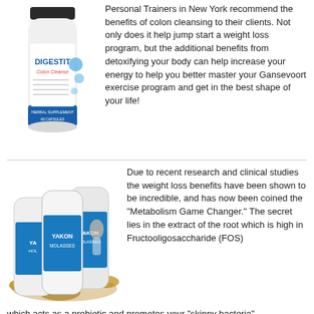[Figure (photo): Digestit Colon Cleanse supplement bottle]
Personal Trainers in New York recommend the benefits of colon cleansing to their clients. Not only does it help jump start a weight loss program, but the additional benefits from detoxifying your body can help increase your energy to help you better master your Gansevoort exercise program and get in the best shape of your life!
[Figure (photo): Yakon Molasses supplement bottles with woman figure and root vegetables]
Due to recent research and clinical studies the weight loss benefits have been shown to be incredible, and has now been coined the "Metabolism Game Changer." The secret lies in the extract of the root which is high in Fructooligosaccharide (FOS) which acts as a prebiotic and promotes your "skinny bacteria".
[Figure (photo): Another supplement bottle, partially visible at bottom of page]
Published in the journal of "Lipids in Health